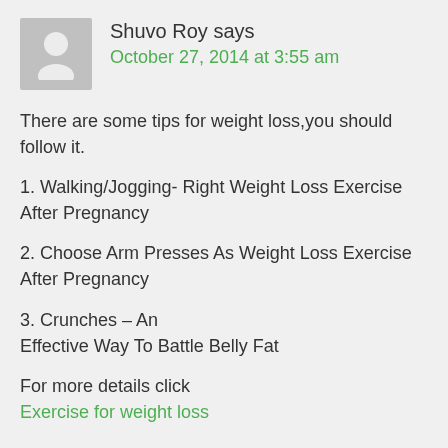Shuvo Roy says
October 27, 2014 at 3:55 am
There are some tips for weight loss,you should follow it.
1. Walking/Jogging- Right Weight Loss Exercise After Pregnancy
2. Choose Arm Presses As Weight Loss Exercise After Pregnancy
3. Crunches – An Effective Way To Battle Belly Fat
For more details click
Exercise for weight loss